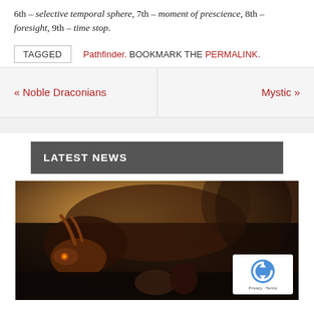6th – selective temporal sphere, 7th – moment of prescience, 8th – foresight, 9th – time stop.
TAGGED  Pathfinder. BOOKMARK THE PERMALINK.
« Noble Draconians
Mystic »
LATEST NEWS
[Figure (illustration): Fantasy illustration showing a large dragon with a person or character in a dramatic scene with trees and a castle in the background. A reCAPTCHA badge is visible in the bottom right corner.]